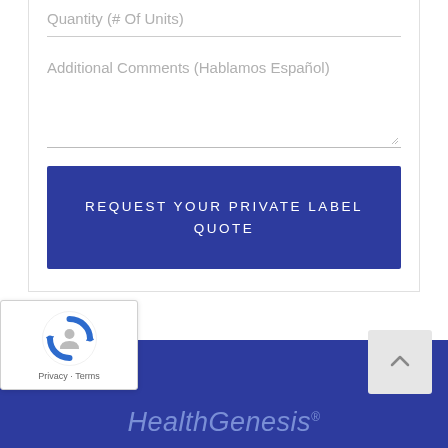Quantity (# Of Units)
Additional Comments (Hablamos Español)
REQUEST YOUR PRIVATE LABEL QUOTE
[Figure (logo): reCAPTCHA badge with logo, Privacy and Terms links]
[Figure (logo): HealthGenesis logo in footer]
HealthGenesis®